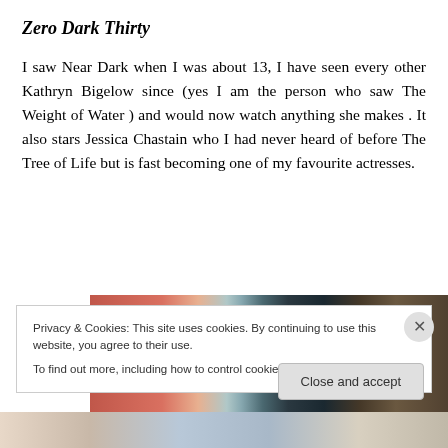Zero Dark Thirty
I saw Near Dark when I was about 13, I have seen every other Kathryn Bigelow since (yes I am the person who saw The Weight of Water ) and would now watch anything she makes . It also stars Jessica Chastain who I had never heard of before The Tree of Life but is fast becoming one of my favourite actresses.
[Figure (photo): A dark cinematic still image, showing blurred close-up details suggesting a person's face or head, with red and teal/dark tones, likely a film still from Zero Dark Thirty.]
Privacy & Cookies: This site uses cookies. By continuing to use this website, you agree to their use.
To find out more, including how to control cookies, see here: Cookie Policy
Close and accept